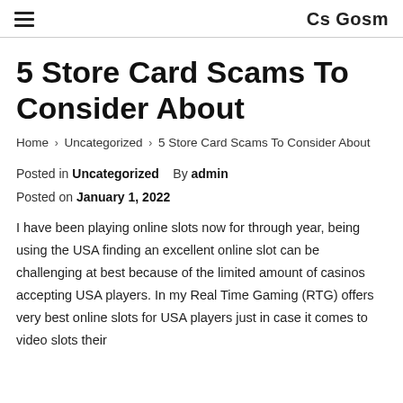Cs Gosm
5 Store Card Scams To Consider About
Home › Uncategorized › 5 Store Card Scams To Consider About
Posted in Uncategorized   By admin
Posted on January 1, 2022
I have been playing online slots now for through year, being using the USA finding an excellent online slot can be challenging at best because of the limited amount of casinos accepting USA players. In my Real Time Gaming (RTG) offers very best online slots for USA players just in case it comes to video slots their